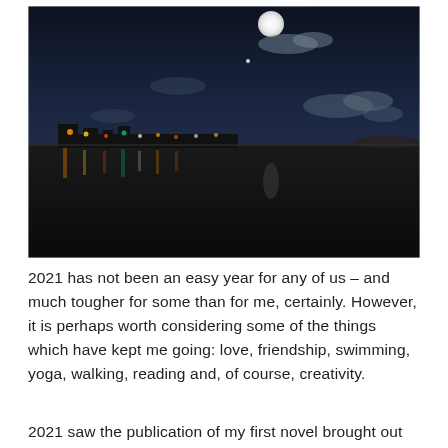[Figure (photo): Nighttime photo of a waterfront scene with a bright full moon in a dark sky with scattered clouds, colorful lights from a pier or harbor reflected on the water surface.]
2021 has not been an easy year for any of us – and much tougher for some than for me, certainly. However, it is perhaps worth considering some of the things which have kept me going: love, friendship, swimming, yoga, walking, reading and, of course, creativity.
2021 saw the publication of my first novel brought out by a